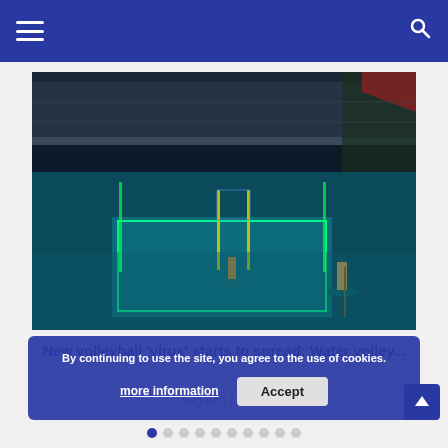Navigation header with hamburger menu and search icon
[Figure (photo): Night-time water volleyball event. Players on paddleboards on an illuminated pool with a glowing green-lit net. A large crowd watches from a bridge/balcony above. Teal and green neon lighting illuminates the water and court boundaries.]
New volleyball 'virus' starts to spread: Water volley...
August 17, 2022
By continuing to use the site, you agree to the use of cookies.
more information   Accept